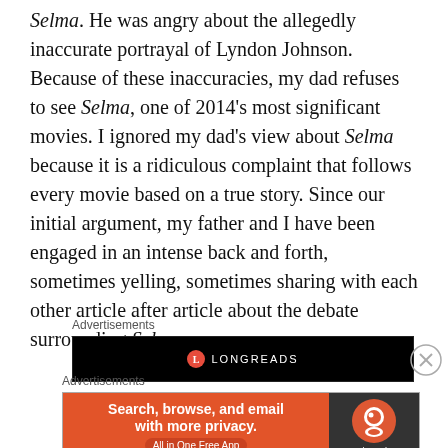Selma. He was angry about the allegedly inaccurate portrayal of Lyndon Johnson. Because of these inaccuracies, my dad refuses to see Selma, one of 2014's most significant movies. I ignored my dad's view about Selma because it is a ridiculous complaint that follows every movie based on a true story. Since our initial argument, my father and I have been engaged in an intense back and forth, sometimes yelling, sometimes sharing with each other article after article about the debate surrounding Selma.
Advertisements
[Figure (other): Longreads advertisement banner with black background and Longreads logo]
Advertisements
[Figure (other): DuckDuckGo advertisement: orange section with text 'Search, browse, and email with more privacy. All in One Free App' and dark right section with DuckDuckGo logo]